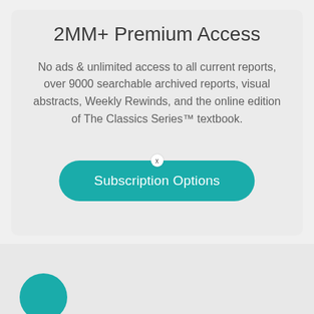2MM+ Premium Access
No ads & unlimited access to all current reports, over 9000 searchable archived reports, visual abstracts, Weekly Rewinds, and the online edition of The Classics Series™ textbook.
Subscription Options